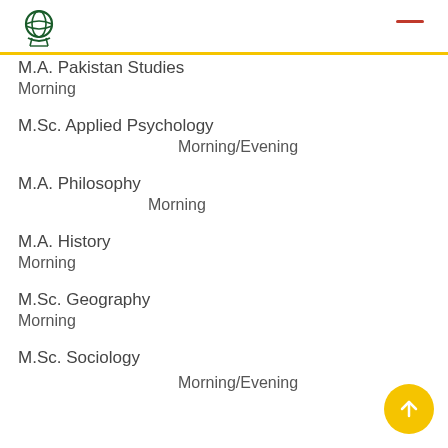M.A. Pakistan Studies
Morning
M.Sc. Applied Psychology
Morning/Evening
M.A. Philosophy
Morning
M.A. History
Morning
M.Sc. Geography
Morning
M.Sc. Sociology
Morning/Evening